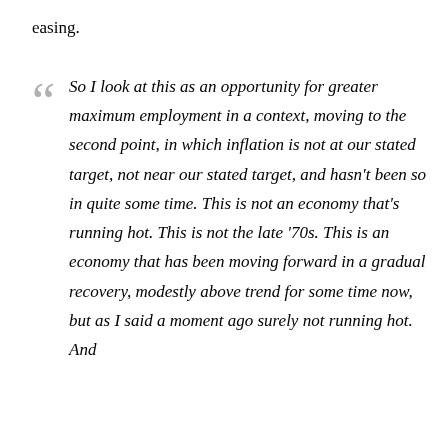easing.
So I look at this as an opportunity for greater maximum employment in a context, moving to the second point, in which inflation is not at our stated target, not near our stated target, and hasn't been so in quite some time. This is not an economy that's running hot. This is not the late '70s. This is an economy that has been moving forward in a gradual recovery, modestly above trend for some time now, but as I said a moment ago surely not running hot. And